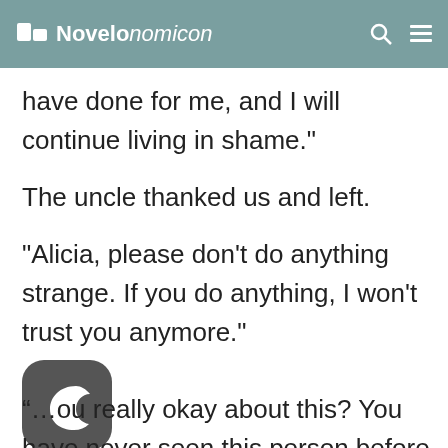Novelonomicon
have done for me, and I will continue living in shame."
The uncle thanked us and left.
“Alicia, please don't do anything strange. If you do anything, I won't trust you anymore."
[Figure (illustration): Dark mode crescent moon app icon, dark gray rounded square]
“…ou really okay about this? You have never seen this person before